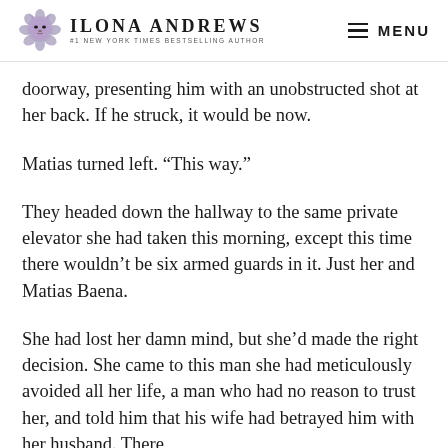Ilona Andrews — #1 New York Times Bestselling Author — MENU
doorway, presenting him with an unobstructed shot at her back. If he struck, it would be now.
Matias turned left. “This way.”
They headed down the hallway to the same private elevator she had taken this morning, except this time there wouldn’t be six armed guards in it. Just her and Matias Baena.
She had lost her damn mind, but she’d made the right decision. She came to this man she had meticulously avoided all her life, a man who had no reason to trust her, and told him that his wife had betrayed him with her husband. There